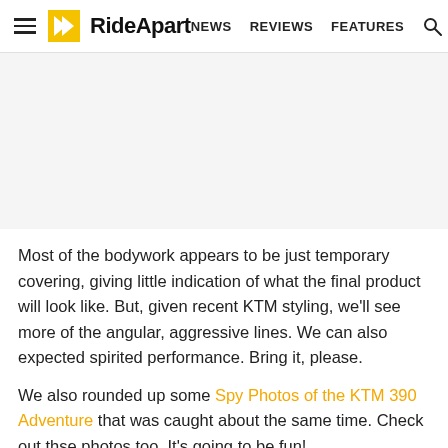≡ RideApart   NEWS   REVIEWS   FEATURES   🔍
[Figure (photo): Blank/placeholder image area (article photo not visible)]
Most of the bodywork appears to be just temporary covering, giving little indication of what the final product will look like. But, given recent KTM styling, we'll see more of the angular, aggressive lines. We can also expected spirited performance. Bring it, please.
We also rounded up some Spy Photos of the KTM 390 Adventure that was caught about the same time. Check out thse photos too. It's going to be fun!